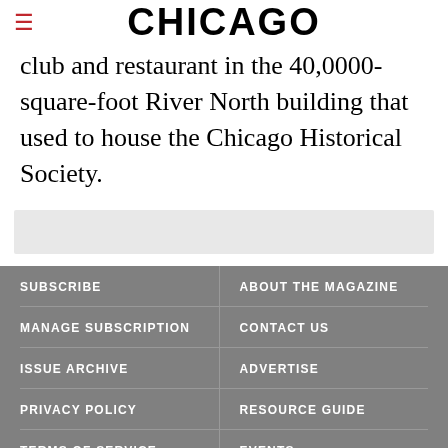CHICAGO
club and restaurant in the 40,0000-square-foot River North building that used to house the Chicago Historical Society.
[Figure (other): Gray advertisement banner placeholder bar]
SUBSCRIBE
ABOUT THE MAGAZINE
MANAGE SUBSCRIPTION
CONTACT US
ISSUE ARCHIVE
ADVERTISE
PRIVACY POLICY
RESOURCE GUIDE
TERMS OF SERVICE
EVENTS